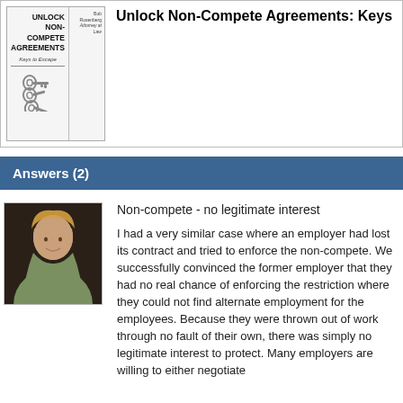[Figure (photo): Book cover of 'Unlock Non-Compete Agreements: Keys to Escape' shown next to a partial title]
Unlock Non-Compete Agreements: Keys...
Answers (2)
[Figure (photo): Portrait photo of a woman with blonde hair and glasses]
Non-compete - no legitimate interest
I had a very similar case where an employer had lost its contract and tried to enforce the non-compete. We successfully convinced the former employer that they had no real chance of enforcing the restriction where they could not find alternate employment for the employees. Because they were thrown out of work through no fault of their own, there was simply no legitimate interest to protect. Many employers are willing to either negotiate